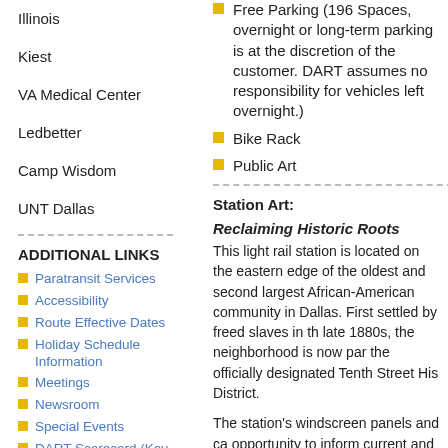Illinois
Kiest
VA Medical Center
Ledbetter
Camp Wisdom
UNT Dallas
ADDITIONAL LINKS
Paratransit Services
Accessibility
Route Effective Dates
Holiday Schedule Information
Meetings
Newsroom
Special Events
DART Scorecard (Key Performance Indicators)
Free Parking (196 Spaces, overnight or long-term parking is at the discretion of the customer. DART assumes no responsibility for vehicles left overnight.)
Bike Rack
Public Art
Station Art:
Reclaiming Historic Roots
This light rail station is located on the eastern edge of the oldest and second largest African-American community in Dallas. First settled by freed slaves in the late 1880s, the neighborhood is now part of the officially designated Tenth Street Historic District.
The station's windscreen panels and canopy opportunity to inform current and future roots in Dallas history and its abiding be...